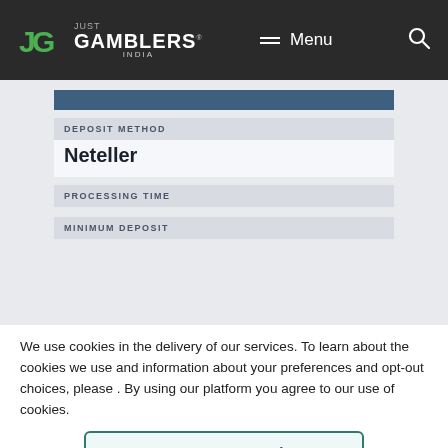JUST GAMBLERS INDIA — Menu — Search
DEPOSIT METHOD
Neteller
PROCESSING TIME
MINIMUM DEPOSIT
We use cookies in the delivery of our services. To learn about the cookies we use and information about your preferences and opt-out choices, please . By using our platform you agree to our use of cookies.
Agree & proceed!